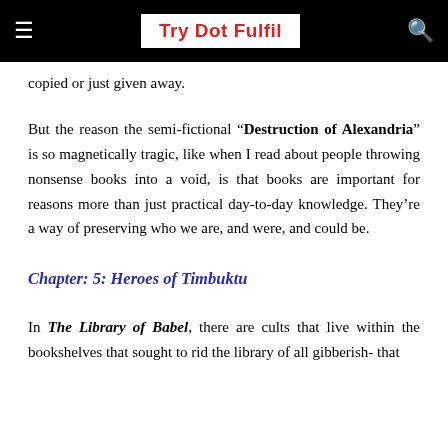Try Dot Fulfil
copied or just given away.
But the reason the semi-fictional “Destruction of Alexandria” is so magnetically tragic, like when I read about people throwing nonsense books into a void, is that books are important for reasons more than just practical day-to-day knowledge. They’re a way of preserving who we are, and were, and could be.
Chapter: 5: Heroes of Timbuktu
In The Library of Babel, there are cults that live within the bookshelves that sought to rid the library of all gibberish- that